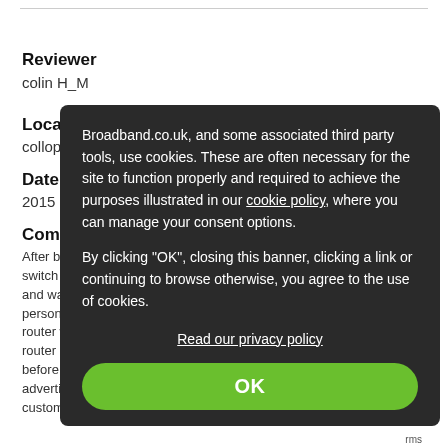Reviewer
colin H_M
Location
collopton
Date
2015
Comment
After being mis-sold a package for another provider I thought I would switch to another provider. I was not looking forward to the change and was impressed from the start, another I determined provider, the person I spoke to informed me that I could use my previous providers router with others without additional cost. The salesman promised router had been delivered the same day after my go live date but before I had to phone them too and complaining about the flash advertisement concerning customer service I expierenced zero customer sevice and was relieved to be shot
Broadband.co.uk, and some associated third party tools, use cookies. These are often necessary for the site to function properly and required to achieve the purposes illustrated in our cookie policy, where you can manage your consent options.

By clicking "OK", closing this banner, clicking a link or continuing to browse otherwise, you agree to the use of cookies.
Read our privacy policy
OK